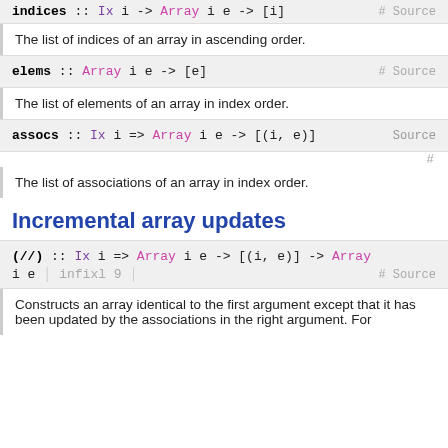indices :: Ix i -> Array i e -> [i]  # Source
The list of indices of an array in ascending order.
elems :: Array i e -> [e]  # Source
The list of elements of an array in index order.
assocs :: Ix i => Array i e -> [(i, e)]  Source
The list of associations of an array in index order.
Incremental array updates
(//) :: Ix i => Array i e -> [(i, e)] -> Array i e  |  infixl 9  |  # Source
Constructs an array identical to the first argument except that it has been updated by the associations in the right argument. For